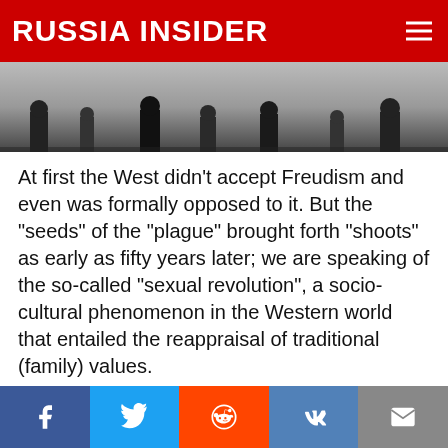RUSSIA INSIDER
[Figure (photo): Black and white photo showing figures/people at the bottom of the frame, partially cropped]
At first the West didn't accept Freudism and even was formally opposed to it. But the “seeds” of the “plague” brought forth “shoots” as early as fifty years later; we are speaking of the so-called “sexual revolution”, a socio-cultural phenomenon in the Western world that entailed the reappraisal of traditional (family) values.
To understand its origins we should refer to Sigmund Freud’s theory of psychoanalysis, namely his method of treating patients with mental disorders. According to the theory, a
Facebook | Twitter | Reddit | VK | Email